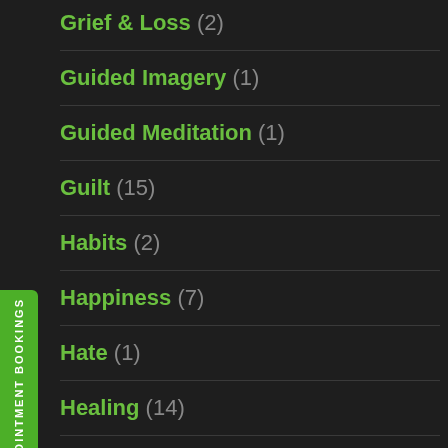Grief & Loss (2)
Guided Imagery (1)
Guided Meditation (1)
Guilt (15)
Habits (2)
Happiness (7)
Hate (1)
Healing (14)
Healing Music (1)
Health (6)
Healthy Mind (1)